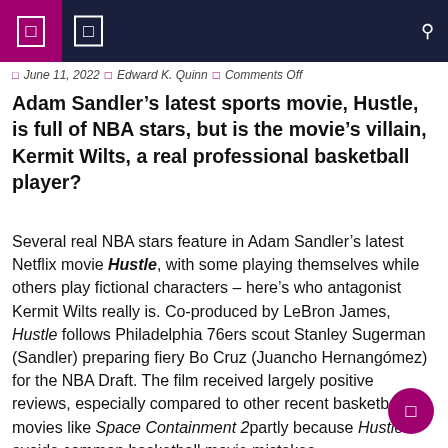Navigation header bar with icons
June 11, 2022  Edward K. Quinn  Comments Off
Adam Sandler's latest sports movie, Hustle, is full of NBA stars, but is the movie's villain, Kermit Wilts, a real professional basketball player?
Several real NBA stars feature in Adam Sandler's latest Netflix movie Hustle, with some playing themselves while others play fictional characters – here's who antagonist Kermit Wilts really is. Co-produced by LeBron James, Hustle follows Philadelphia 76ers scout Stanley Sugerman (Sandler) preparing fiery Bo Cruz (Juancho Hernangómez) for the NBA Draft. The film received largely positive reviews, especially compared to other recent basketball movies like Space Containment 2partly because Hustle avoids common basketball movie mistakes.